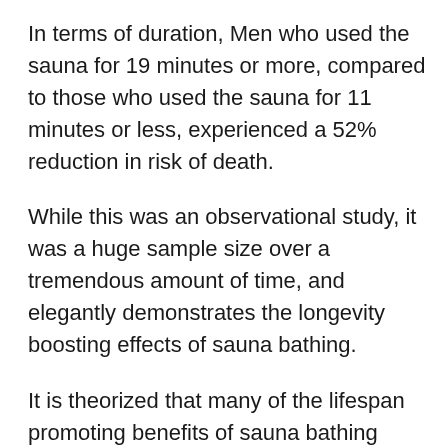In terms of duration, Men who used the sauna for 19 minutes or more, compared to those who used the sauna for 11 minutes or less, experienced a 52% reduction in risk of death.
While this was an observational study, it was a huge sample size over a tremendous amount of time, and elegantly demonstrates the longevity boosting effects of sauna bathing.
It is theorized that many of the lifespan promoting benefits of sauna bathing come from boosts in heart and circulatory health. About 10 minutes into a sauna session, and my heart rate starts to pick up, substantially. You can think of this like a passive cardiovascular